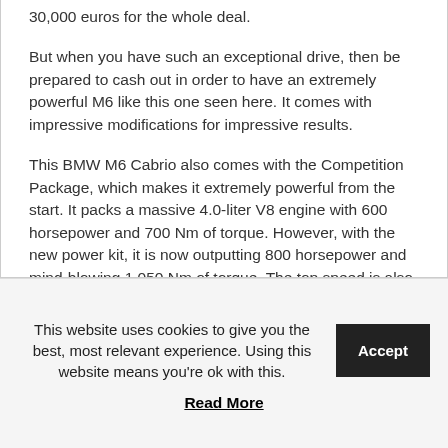30,000 euros for the whole deal.
But when you have such an exceptional drive, then be prepared to cash out in order to have an extremely powerful M6 like this one seen here. It comes with impressive modifications for impressive results.
This BMW M6 Cabrio also comes with the Competition Package, which makes it extremely powerful from the start. It packs a massive 4.0-liter V8 engine with 600 horsepower and 700 Nm of torque. However, with the new power kit, it is now outputting 800 horsepower and mind-blowing 1,050 Nm of torque. The top speed is also set at 330 km/h.
This website uses cookies to give you the best, most relevant experience. Using this website means you're ok with this.
Read More